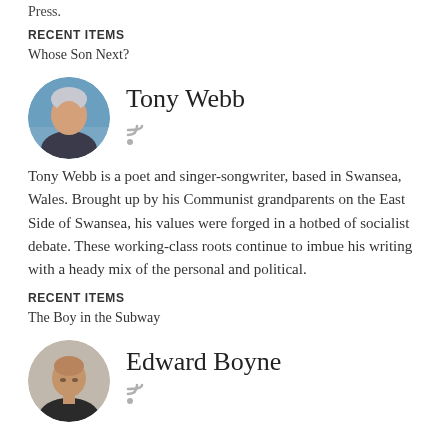Press.
RECENT ITEMS
Whose Son Next?
Tony Webb
Tony Webb is a poet and singer-songwriter, based in Swansea, Wales. Brought up by his Communist grandparents on the East Side of Swansea, his values were forged in a hotbed of socialist debate. These working-class roots continue to imbue his writing with a heady mix of the personal and political.
RECENT ITEMS
The Boy in the Subway
Edward Boyne